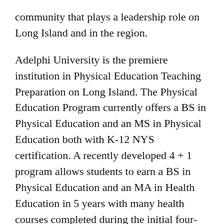community that plays a leadership role on Long Island and in the region.
Adelphi University is the premiere institution in Physical Education Teaching Preparation on Long Island. The Physical Education Program currently offers a BS in Physical Education and an MS in Physical Education both with K-12 NYS certification. A recently developed 4 + 1 program allows students to earn a BS in Physical Education and an MA in Health Education in 5 years with many health courses completed during the initial four-year period and included in undergraduate tuition.